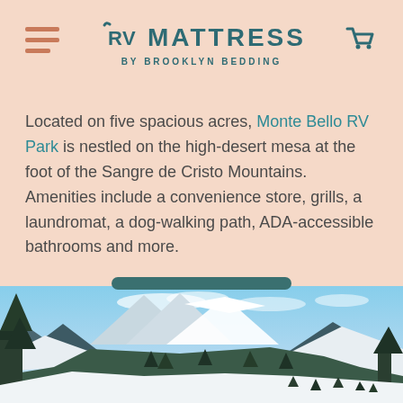RV MATTRESS BY BROOKLYN BEDDING
Located on five spacious acres, Monte Bello RV Park is nestled on the high-desert mesa at the foot of the Sangre de Cristo Mountains. Amenities include a convenience store, grills, a laundromat, a dog-walking path, ADA-accessible bathrooms and more.
[Figure (photo): Snowy mountain landscape with pine trees, blue sky with light clouds, showing ski runs and snow-covered slopes of the Sangre de Cristo Mountains]